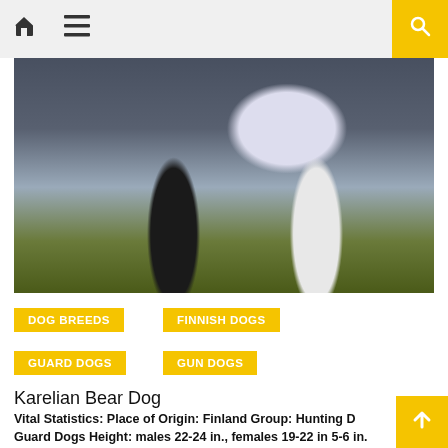Navigation bar with home icon, menu icon, and search button
[Figure (photo): Close-up photo of the lower body and legs of a black and white dog standing on grass/ground, showing distinct black and white coloring on legs]
DOG BREEDS
FINNISH DOGS
GUARD DOGS
GUN DOGS
Karelian Bear Dog
Vital Statistics: Place of Origin: Finland Group: Hunting D Guard Dogs Height: males 22-24 in., females 19-22 in 5-6 in. Weight: 44-50 lbs. lifespan: 10-12 Trainability: